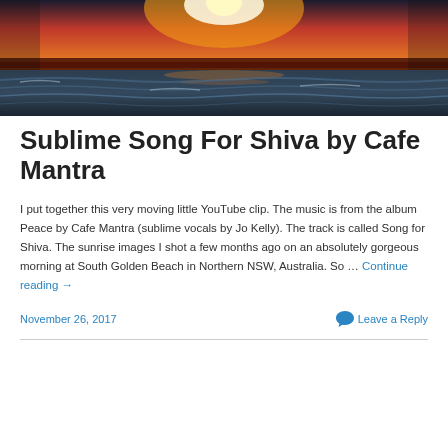[Figure (photo): Sunset over ocean with orange and red sky, waves visible in foreground, silhouetted horizon]
Sublime Song For Shiva by Cafe Mantra
I put together this very moving little YouTube clip. The music is from the album Peace by Cafe Mantra (sublime vocals by Jo Kelly). The track is called Song for Shiva. The sunrise images I shot a few months ago on an absolutely gorgeous morning at South Golden Beach in Northern NSW, Australia. So … Continue reading →
November 26, 2017
Leave a Reply